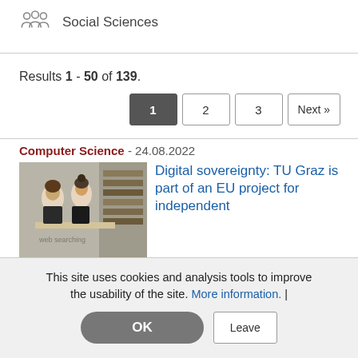Social Sciences
Results 1 - 50 of 139.
Pagination: 1, 2, 3, Next »
Computer Science - 24.08.2022
[Figure (photo): Two students in a library setting]
Digital sovereignty: TU Graz is part of an EU project for independent web searching. Information store for alternatives to Google and Co. The aim of the EU project OpenWebSearch.EU is to initiate an open European infrastructure in web search.
This site uses cookies and analysis tools to improve the usability of the site. More information. |